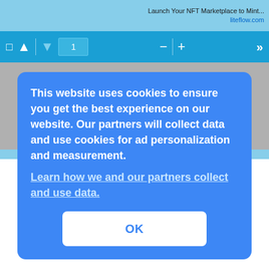Launch Your NFT Marketplace to Mint...
liteflow.com
[Figure (screenshot): PDF viewer toolbar with navigation icons, page number input showing 1, zoom controls minus and plus, and double-right-arrow button on blue background]
This website uses cookies to ensure you get the best experience on our website. Our partners will collect data and use cookies for ad personalization and measurement.
Learn how we and our partners collect and use data.
OK